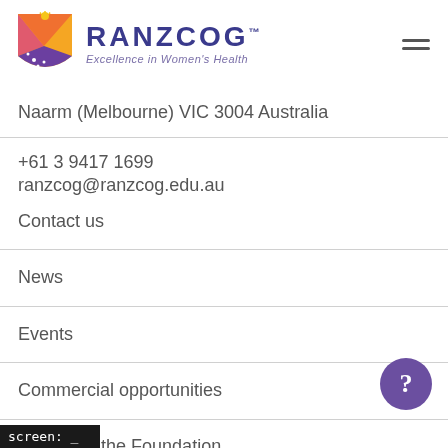[Figure (logo): RANZCOG logo with shield icon and tagline 'Excellence in Women's Health']
Naarm (Melbourne) VIC 3004 Australia
+61 3 9417 1699
ranzcog@ranzcog.edu.au
Contact us
News
Events
Commercial opportunities
Donate to the Foundation
screen: _